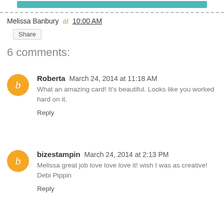[Figure (other): Teal/turquoise banner button at top]
Melissa Banbury at 10:00 AM
Share
6 comments:
Roberta  March 24, 2014 at 11:18 AM
What an amazing card! It's beautiful. Looks like you worked hard on it.
Reply
bizestampin  March 24, 2014 at 2:13 PM
Melissa great job love love love it! wish I was as creative! Debi Pippin
Reply